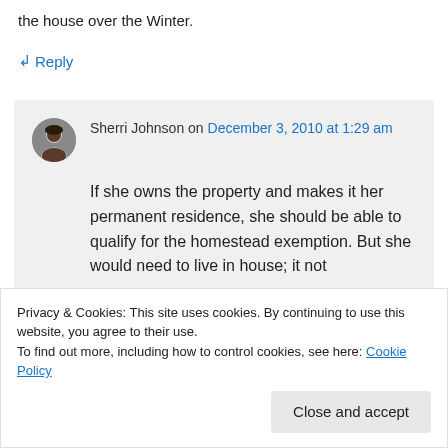the house over the Winter.
↳ Reply
Sherri Johnson on December 3, 2010 at 1:29 am
If she owns the property and makes it her permanent residence, she should be able to qualify for the homestead exemption. But she would need to live in house; it not
Privacy & Cookies: This site uses cookies. By continuing to use this website, you agree to their use.
To find out more, including how to control cookies, see here: Cookie Policy
Close and accept